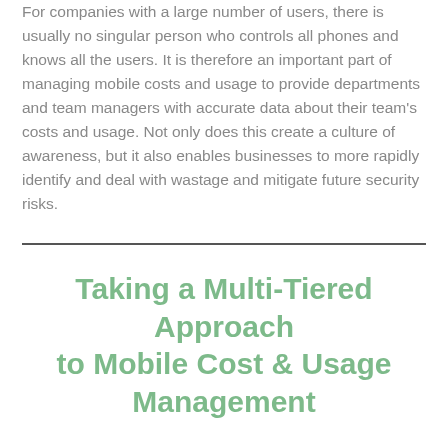For companies with a large number of users, there is usually no singular person who controls all phones and knows all the users. It is therefore an important part of managing mobile costs and usage to provide departments and team managers with accurate data about their team's costs and usage. Not only does this create a culture of awareness, but it also enables businesses to more rapidly identify and deal with wastage and mitigate future security risks.
Taking a Multi-Tiered Approach to Mobile Cost & Usage Management